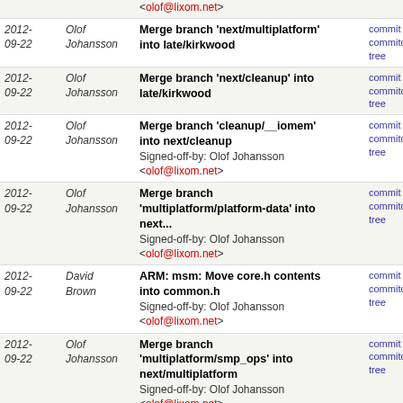| Date | Author | Message | Links |
| --- | --- | --- | --- |
| 2012-09-22 | Olof Johansson | Merge branch 'next/multiplatform' into late/kirkwood | commit | commitdiff | tree |
| 2012-09-22 | Olof Johansson | Merge branch 'next/cleanup' into late/kirkwood | commit | commitdiff | tree |
| 2012-09-22 | Olof Johansson | Merge branch 'cleanup/__iomem' into next/cleanup
Signed-off-by: Olof Johansson <olof@lixom.net> | commit | commitdiff | tree |
| 2012-09-22 | Olof Johansson | Merge branch 'multiplatform/platform-data' into next...
Signed-off-by: Olof Johansson <olof@lixom.net> | commit | commitdiff | tree |
| 2012-09-22 | David Brown | ARM: msm: Move core.h contents into common.h
Signed-off-by: Olof Johansson <olof@lixom.net> | commit | commitdiff | tree |
| 2012-09-22 | Olof Johansson | Merge branch 'multiplatform/smp_ops' into next/multiplatform
Signed-off-by: Olof Johansson <olof@lixom.net> | commit | commitdiff | tree |
| 2012-09-22 | Olof Johansson | Merge branch 'pxa/fixes' into next/fixes-non-critical | commit | commitdiff | tree |
| 2012-09-22 | Olof Johansson | Merge branch 'board' of git://github.com/hzhuang1/linux... | commit | commitdiff | tree |